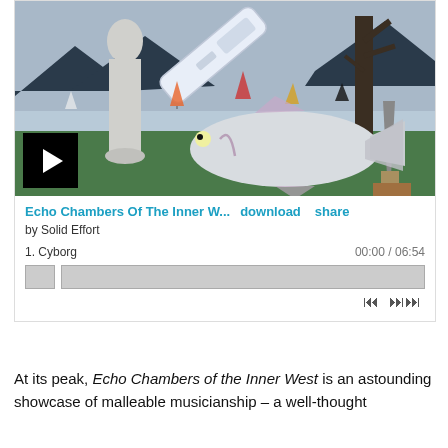[Figure (illustration): Surrealist collage artwork showing a classical statue, a large fish, a pregnancy test stick, a bare tree, an obelisk monument, small sailboats on water, and mountains in the background. A black play button overlay is at the bottom left.]
Echo Chambers Of The Inner W...  download  share
by Solid Effort
1.  Cyborg   00:00 / 06:54
At its peak, Echo Chambers of the Inner West is an astounding showcase of malleable musicianship – a well-thought